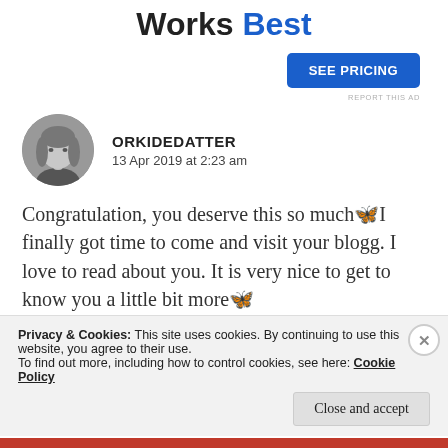Works Best
SEE PRICING
REPORT THIS AD
ORKIDEDATTER
13 Apr 2019 at 2:23 am
Congratulation, you deserve this so much🦋I finally got time to come and visit your blogg. I love to read about you. It is very nice to get to know you a little bit more🦋
Privacy & Cookies: This site uses cookies. By continuing to use this website, you agree to their use.
To find out more, including how to control cookies, see here: Cookie Policy
Close and accept